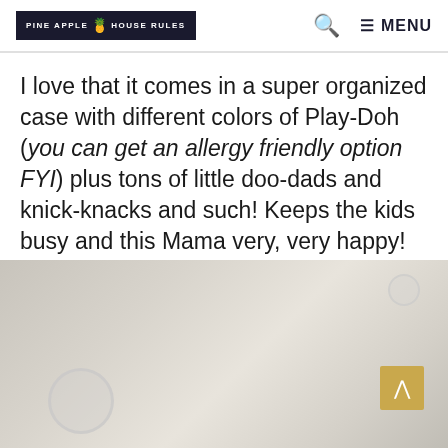PINEAPPLE HOUSE RULES — MENU
I love that it comes in a super organized case with different colors of Play-Doh (you can get an allergy friendly option FYI) plus tons of little doo-dads and knick-knacks and such! Keeps the kids busy and this Mama very, very happy!
[Figure (photo): Blurred/soft-focus photo with beige and grey tones, showing circular shapes in the lower-left and upper-right corners, with a gold scroll-to-top button in the lower-right]